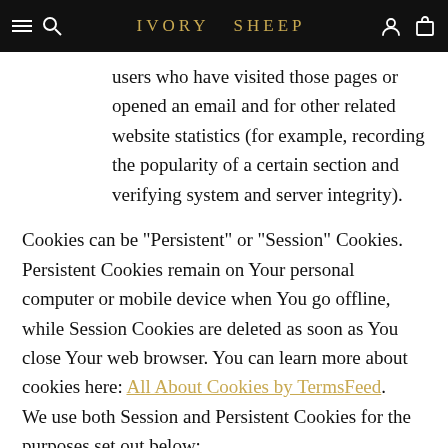IVORY SHEEP
users who have visited those pages or opened an email and for other related website statistics (for example, recording the popularity of a certain section and verifying system and server integrity).
Cookies can be "Persistent" or "Session" Cookies. Persistent Cookies remain on Your personal computer or mobile device when You go offline, while Session Cookies are deleted as soon as You close Your web browser. You can learn more about cookies here: All About Cookies by TermsFeed. We use both Session and Persistent Cookies for the purposes set out below:
Necessary / Essential Cookies
Type: Session Cookies